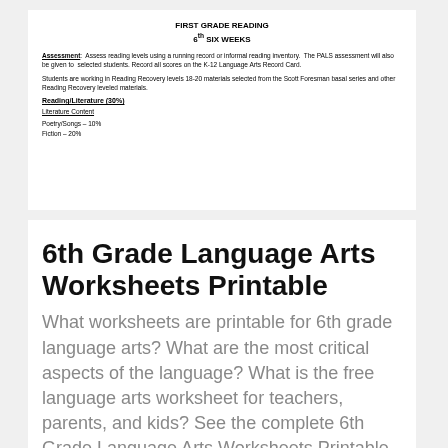FIRST GRADE READING
6th SIX WEEKS
Assessment: Assess reading levels using a running record or informal reading inventory. The PALS assessment will also be given to selected students. Record all scores on the K-12 Language Arts Record Card.
Students are working in Reading Recovery levels 18-20 materials selected from the Scott Foresman basal series and other Reading Recovery leveled materials.
Reading/Literature (30%)
Literature Content
Poetry/Songs – 10%
Fiction – 20%
6th Grade Language Arts Worksheets Printable
What worksheets are printable for 6th grade language arts? What are the most critical aspects of the language? What is the free language arts worksheet for teachers, parents, and kids? See the complete 6th Grade Language Arts Worksheets Printable here.
Language
1 Jan 1970
13 Images